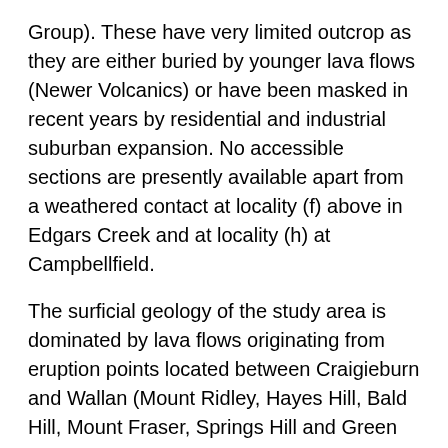Group). These have very limited outcrop as they are either buried by younger lava flows (Newer Volcanics) or have been masked in recent years by residential and industrial suburban expansion. No accessible sections are presently available apart from a weathered contact at locality (f) above in Edgars Creek and at locality (h) at Campbellfield.
The surficial geology of the study area is dominated by lava flows originating from eruption points located between Craigieburn and Wallan (Mount Ridley, Hayes Hill, Bald Hill, Mount Fraser, Springs Hill and Green Hill). These belong to the Newer Volcanic series with lava flows dated at between 4.6 million years to 0.81 million years (Page 1968). The lava spread radially from the vents filling depressions and shallow valleys and diverting and disrupting the existing streams. Individual flows were relatively thin (0.5 to 8 metres) and fast moving as indicated by the vesicular and